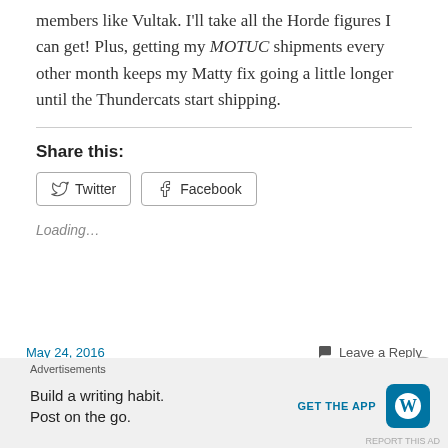members like Vultak. I'll take all the Horde figures I can get! Plus, getting my MOTUC shipments every other month keeps my Matty fix going a little longer until the Thundercats start shipping.
Share this:
Loading...
May 24, 2016   Leave a Reply
Advertisements
Build a writing habit. Post on the go.
GET THE APP